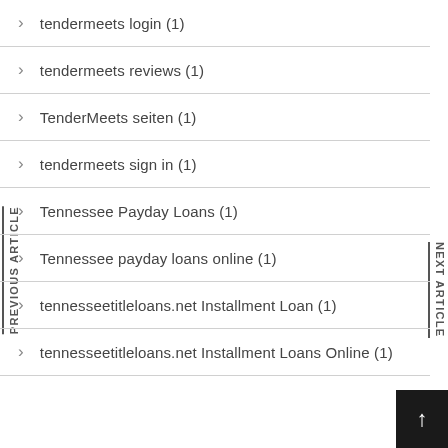tendermeets login (1)
tendermeets reviews (1)
TenderMeets seiten (1)
tendermeets sign in (1)
Tennessee Payday Loans (1)
Tennessee payday loans online (1)
tennesseetitleloans.net Installment Loan (1)
tennesseetitleloans.net Installment Loans Online (1)